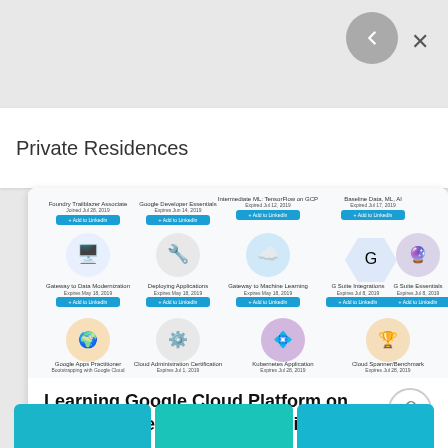Private Residences
[Figure (screenshot): Screenshot of Qwiklabs learning map showing Google Cloud Platform badges and courses in a grid layout]
Learning Google Cloud Platform on Qwiklabs: Learning Map, Assisti...
20 Jun 2020
Cloud